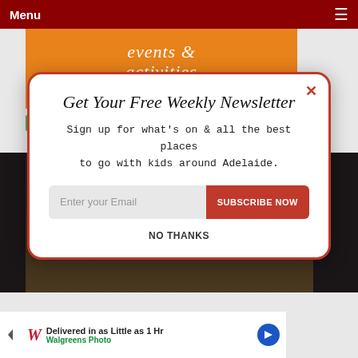Menu
[Figure (screenshot): Orange banner with 'events & activities' text and Powered by SUMO badge]
[Figure (screenshot): Background photo of indoor activity area, dark/dim lighting]
Get Your Free Weekly Newsletter
Sign up for what's on & all the best places to go with kids around Adelaide.
Enter your Email | SUBSCRIBE NOW
NO THANKS
[Figure (screenshot): Walgreens Photo ad: Delivered in as Little as 1 Hr]